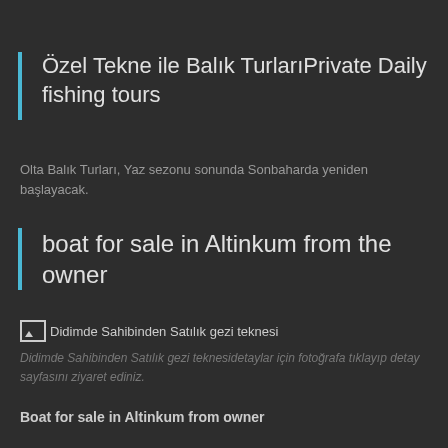Özel Tekne ile Balık TurlarıPrivate Daily fishing tours
Olta Balık Turları, Yaz sezonu sonunda Sonbaharda yeniden başlayacak.
boat for sale in Altinkum from the owner
[Figure (photo): Broken image placeholder with alt text: Didimde Sahibinden Satılık gezi teknesi]
Didimde Sahibinden Satılık gezi teknesidetaylar için fotoğrafa tıklayıp detay sayfasını ziyaret ediniz.
Boat for sale in Altinkum from owner